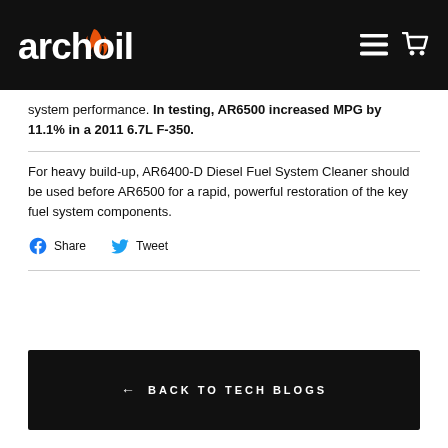archoil
system performance. In testing, AR6500 increased MPG by 11.1% in a 2011 6.7L F-350.
For heavy build-up, AR6400-D Diesel Fuel System Cleaner should be used before AR6500 for a rapid, powerful restoration of the key fuel system components.
Share  Tweet
← BACK TO TECH BLOGS